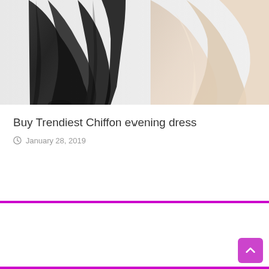[Figure (photo): A photograph showing chiffon evening dresses — one black and one beige/nude — draped or worn, cropped to show the fabric and lower portion of the garments against a light background.]
Buy Trendiest Chiffon evening dress
January 28, 2019